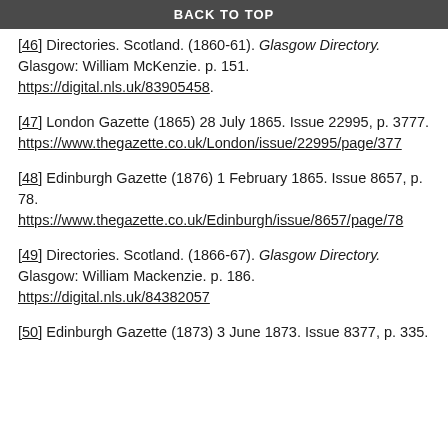BACK TO TOP
[46] Directories. Scotland. (1860-61). Glasgow Directory. Glasgow: William McKenzie. p. 151. https://digital.nls.uk/83905458.
[47] London Gazette (1865) 28 July 1865. Issue 22995, p. 3777. https://www.thegazette.co.uk/London/issue/22995/page/377
[48] Edinburgh Gazette (1876) 1 February 1865. Issue 8657, p. 78. https://www.thegazette.co.uk/Edinburgh/issue/8657/page/78
[49] Directories. Scotland. (1866-67). Glasgow Directory. Glasgow: William Mackenzie. p. 186. https://digital.nls.uk/84382057
[50] Edinburgh Gazette (1873) 3 June 1873. Issue 8377, p. 335.